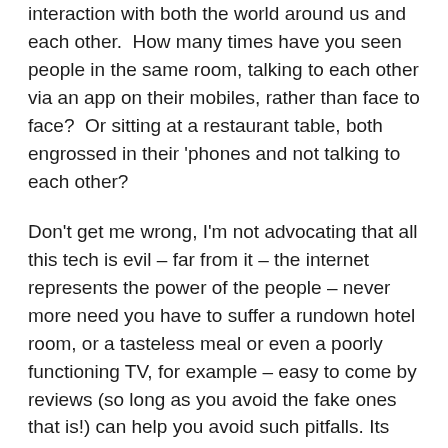interaction with both the world around us and each other.  How many times have you seen people in the same room, talking to each other via an app on their mobiles, rather than face to face?  Or sitting at a restaurant table, both engrossed in their 'phones and not talking to each other?
Don't get me wrong, I'm not advocating that all this tech is evil – far from it – the internet represents the power of the people – never more need you have to suffer a rundown hotel room, or a tasteless meal or even a poorly functioning TV, for example – easy to come by reviews (so long as you avoid the fake ones that is!) can help you avoid such pitfalls. Its true that tech can be used for so much positive information flow; however, it doesn't seem to have helped us with our interpersonal skills.